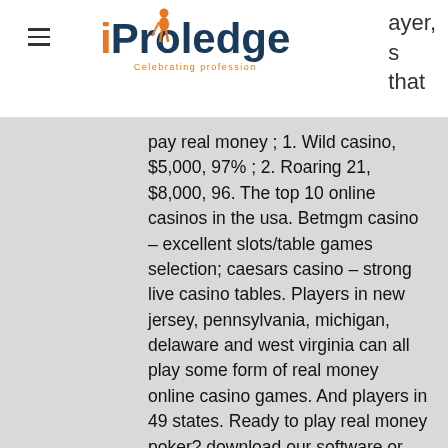iProledge — Celebrating profession
ayer, s that pay real money ; 1. Wild casino, $5,000, 97% ; 2. Roaring 21, $8,000, 96. The top 10 online casinos in the usa. Betmgm casino – excellent slots/table games selection; caesars casino – strong live casino tables. Players in new jersey, pennsylvania, michigan, delaware and west virginia can all play some form of real money online casino games. And players in 49 states. Ready to play real money poker? download our software or register via the website, then select any of the easy-to-use deposit options listed. Learn how to play online casino games like blackjack, roulette, slots, and poker for real money today. Get up to $1,000 back on net losses in your first 24. Play 100's of the best online slots for real